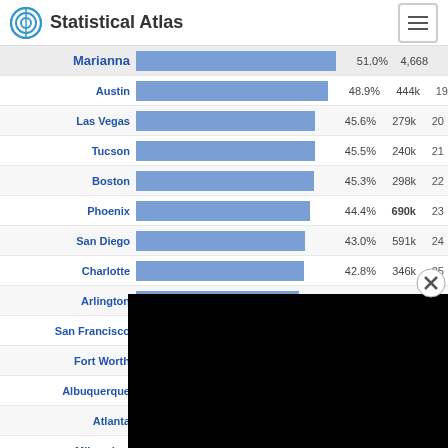Statistical Atlas
[Figure (bar-chart): Statistical Atlas - City Rankings by Percentage]